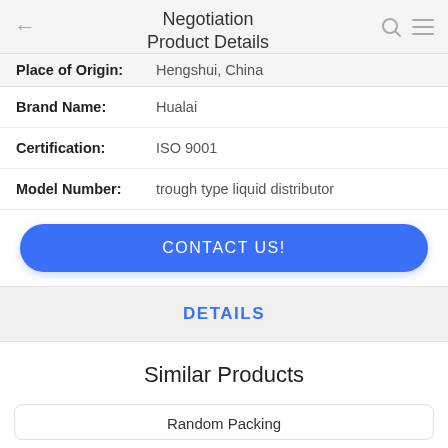Negotiation Product Details
| Place of Origin: | Hengshui, China |
| Brand Name: | Hualai |
| Certification: | ISO 9001 |
| Model Number: | trough type liquid distributor |
CONTACT US!
DETAILS
Similar Products
Random Packing